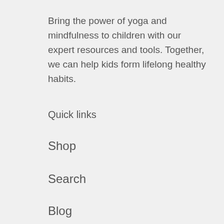Bring the power of yoga and mindfulness to children with our expert resources and tools. Together, we can help kids form lifelong healthy habits.
Quick links
Shop
Search
Blog
Contact Us
Policies